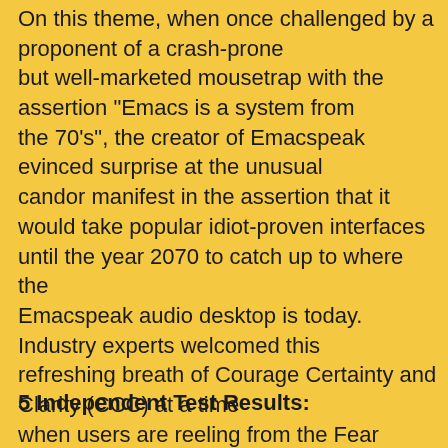On this theme, when once challenged by a proponent of a crash-prone but well-marketed mousetrap with the assertion "Emacs is a system from the 70's", the creator of Emacspeak evinced surprise at the unusual candor manifest in the assertion that it would take popular idiot-proven interfaces until the year 2070 to catch up to where the Emacspeak audio desktop is today. Industry experts welcomed this refreshing breath of Courage Certainty and Clarity (CCC) at a time when users are reeling from the Fear Uncertainty and Doubt (FUD) unleashed by complex software systems backed by even more convoluted press releases.
5 Independent Test Results: